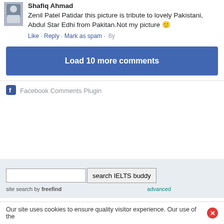Shafiq Ahmad
Zenil Patel Patidar this picture is tribute to lovely Pakistani, Abdul Star Edhi from Pakitan.Not my picture 🙂
Like · Reply · Mark as spam · 6y
Load 10 more comments
Facebook Comments Plugin
search IELTS buddy
site search by freefind
advanced
Our site uses cookies to ensure quality visitor experience. Our use of the